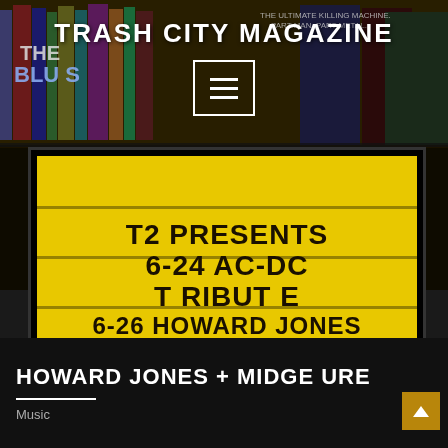TRASH CITY MAGAZINE
[Figure (photo): A marquee/letterboard sign on a yellow background reading: T2 PRESENTS / 6-24 AC-DC / T RIBUT E / 6-26 HOWARD JONES / & MIDGE URE. Sign is set against a dark background with VHS shelf visible in top portion.]
HOWARD JONES + MIDGE URE
Music